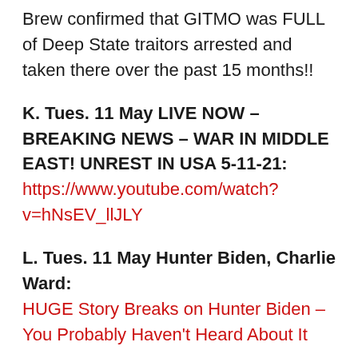Brew confirmed that GITMO was FULL of Deep State traitors arrested and taken there over the past 15 months!!
K. Tues. 11 May LIVE NOW – BREAKING NEWS – WAR IN MIDDLE EAST! UNREST IN USA 5-11-21:  https://www.youtube.com/watch?v=hNsEV_llJLY
L. Tues. 11 May Hunter Biden, Charlie Ward: HUGE Story Breaks on Hunter Biden – You Probably Haven't Heard About It
M. International Child Sex Trafficking Ring: